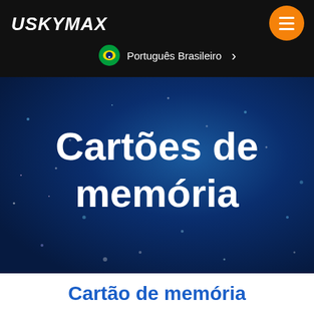USKYMAX
Português Brasileiro
Cartões de memória
Cartão de memória